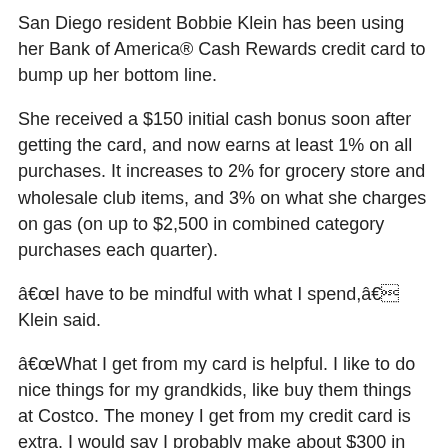San Diego resident Bobbie Klein has been using her Bank of America® Cash Rewards credit card to bump up her bottom line.
She received a $150 initial cash bonus soon after getting the card, and now earns at least 1% on all purchases. It increases to 2% for grocery store and wholesale club items, and 3% on what she charges on gas (on up to $2,500 in combined category purchases each quarter).
“I have to be mindful with what I spend,” Klein said.
“What I get from my card is helpful. I like to do nice things for my grandkids, like buy them things at Costco. The money I get from my credit card is extra. I would say I probably make about $300 in total from my credit card in a year, maybe more.”
Klein says she doesn’t do anything special to get